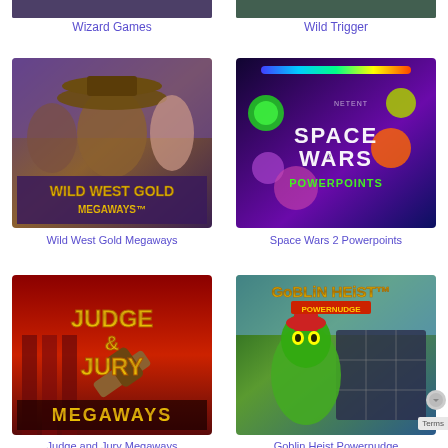[Figure (screenshot): Partial top of Wizard Games slot game screenshot]
Wizard Games
[Figure (screenshot): Partial top of Wild Trigger slot game screenshot]
Wild Trigger
[Figure (screenshot): Wild West Gold Megaways slot game - cowboys in purple background with golden text]
Wild West Gold Megaways
[Figure (screenshot): Space Wars 2 Powerpoints slot game - colorful gem creatures in dark space background]
Space Wars 2 Powerpoints
[Figure (screenshot): Judge and Jury Megaways slot game - gold and red text with gavel]
Judge and Jury Megaways
[Figure (screenshot): Goblin Heist Powernudge slot game - green goblin with gold text]
Goblin Heist Powernudge